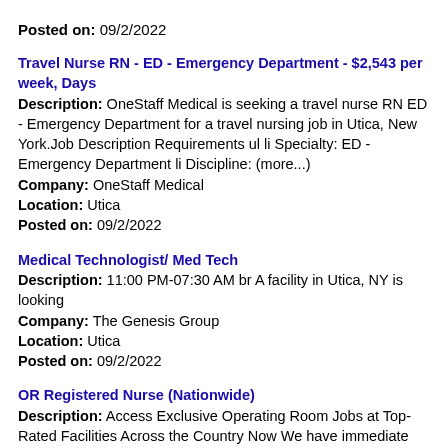Posted on: 09/2/2022
Travel Nurse RN - ED - Emergency Department - $2,543 per week, Days
Description: OneStaff Medical is seeking a travel nurse RN ED - Emergency Department for a travel nursing job in Utica, New York.Job Description Requirements ul li Specialty: ED - Emergency Department li Discipline: (more...)
Company: OneStaff Medical
Location: Utica
Posted on: 09/2/2022
Medical Technologist/ Med Tech
Description: 11:00 PM-07:30 AM br A facility in Utica, NY is looking
Company: The Genesis Group
Location: Utica
Posted on: 09/2/2022
OR Registered Nurse (Nationwide)
Description: Access Exclusive Operating Room Jobs at Top-Rated Facilities Across the Country Now We have immediate nationwide openings for Operating
Company: Aya Healthcare
Location: Utica